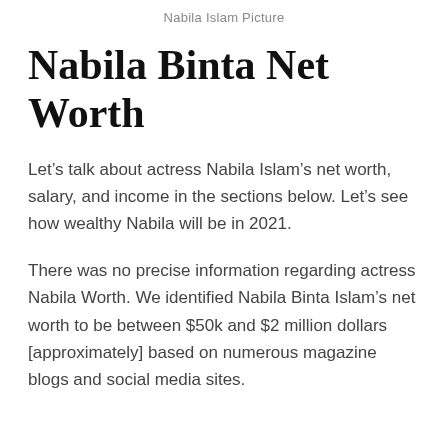Nabila Islam Picture
Nabila Binta Net Worth
Let's talk about actress Nabila Islam's net worth, salary, and income in the sections below. Let's see how wealthy Nabila will be in 2021.
There was no precise information regarding actress Nabila Worth. We identified Nabila Binta Islam's net worth to be between $50k and $2 million dollars [approximately] based on numerous magazine blogs and social media sites.